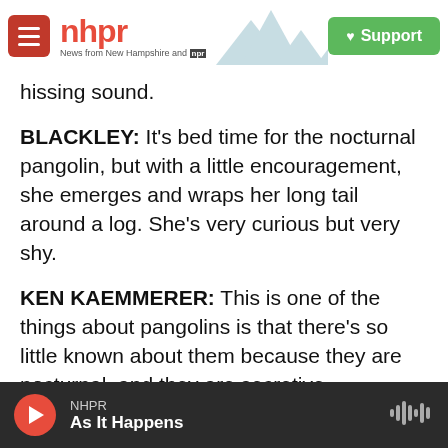nhpr — News from New Hampshire and NPR | Support
hissing sound.
BLACKLEY: It's bed time for the nocturnal pangolin, but with a little encouragement, she emerges and wraps her long tail around a log. She's very curious but very shy.
KEN KAEMMERER: This is one of the things about pangolins is that there's so little known about them because they are nocturnal, and they are secretive.
BLACKLEY: That's Ken Kaemmerer. He's the
NHPR — As It Happens